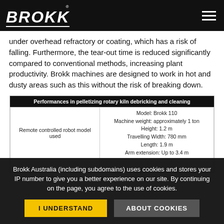BROKK®
under overhead refractory or coating, which has a risk of falling. Furthermore, the tear-out time is reduced significantly compared to conventional methods, increasing plant productivity. Brokk machines are designed to work in hot and dusty areas such as this without the risk of breaking down.
| Performances in pelletizing rotary kiln debricking and cleaning |
| --- |
| Remote controlled robot model used | Model: Brokk 110
Machine weight: approximately 1 ton
Height: 1.2 m
Travelling Width: 780 mm
Length: 1.9 m
Arm extension: Up to 3.4 m |
Brokk Australia (including subdomains) uses cookies and stores your IP number to give you a better experience on our site. By continuing on the page, you agree to the use of cookies.